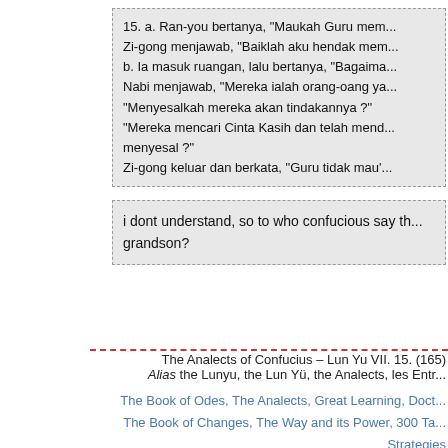15. a. Ran-you bertanya, "Maukah Guru mem... Zi-gong menjawab, "Baiklah aku hendak mem... b. Ia masuk ruangan, lalu bertanya, "Bagaima... Nabi menjawab, "Mereka ialah orang-oang ya... "Menyesalkah mereka akan tindakannya ?" "Mereka mencari Cinta Kasih dan telah mend... menyesal ?" Zi-gong keluar dan berkata, "Guru tidak mau'...
i dont understand, so to who confucious say th... grandson?
The Analects of Confucius – Lun Yu VII. 15. (165) Alias the Lunyu, the Lun Yü, the Analects, les Entr...
The Book of Odes, The Analects, Great Learning, Doct... The Book of Changes, The Way and its Power, 300 Ta... Strategies Welcome, help, notes, introd... Index – Contact – T...